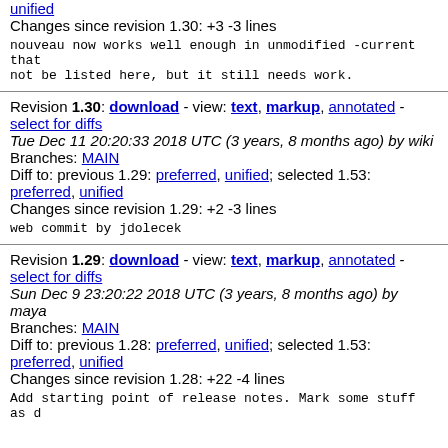unified
Changes since revision 1.30: +3 -3 lines
nouveau now works well enough in unmodified -current that
not be listed here, but it still needs work.
Revision 1.30: download - view: text, markup, annotated - select for diffs
Tue Dec 11 20:20:33 2018 UTC (3 years, 8 months ago) by wiki
Branches: MAIN
Diff to: previous 1.29: preferred, unified; selected 1.53: preferred, unified
Changes since revision 1.29: +2 -3 lines
web commit by jdolecek
Revision 1.29: download - view: text, markup, annotated - select for diffs
Sun Dec 9 23:20:22 2018 UTC (3 years, 8 months ago) by maya
Branches: MAIN
Diff to: previous 1.28: preferred, unified; selected 1.53: preferred, unified
Changes since revision 1.28: +22 -4 lines
Add starting point of release notes. Mark some stuff as d